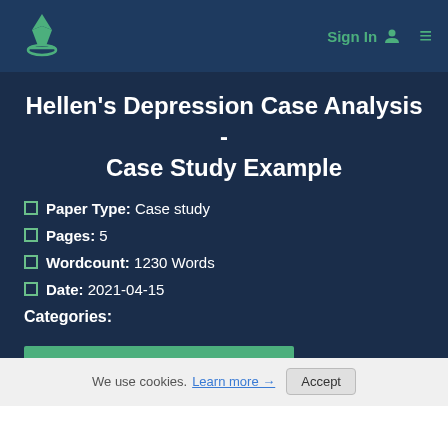Sign In  ≡
Hellen's Depression Case Analysis - Case Study Example
Paper Type: Case study
Pages: 5
Wordcount: 1230 Words
Date: 2021-04-15
Categories:
We use cookies. Learn more → Accept